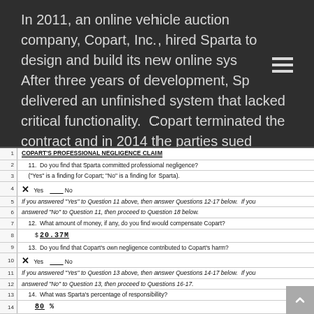In 2011, an online vehicle auction company, Copart, Inc., hired Sparta to design and build its new online sys After three years of development, Sp delivered an unfinished system that lacked critical functionality. Copart terminated the contract and in 2014 the parties sued each other.
COPART'S PROFESSIONAL NEGLIGENCE CLAIM
11. Do you find that Sparta committed professional negligence?
("Yes" is a finding for Copart; "No" is a finding for Sparta).
X Yes ___ No
If you answered "Yes" to Question 11 above, then answer Questions 12-17 below. If you answered "No" to Question 11, then proceed to Question 18 below.
12. What amount of money, if any, do you find would compensate Copart?
$ 20.37M
13. Do you find that Copart's own negligence contributed to Copart's harm?
X Yes ___ No
If you answered "Yes" to Question 13 above, then answer Questions 14-17 below. If you answered "No" to Question 13, then proceed to Questions 16-17.
14. What was Sparta's percentage of responsibility?
80 %